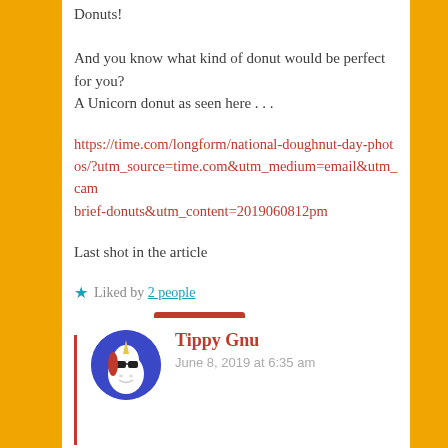Donuts!
And you know what kind of donut would be perfect for you?
A Unicorn donut as seen here . . .
https://time.com/longform/national-doughnut-day-photos/?utm_source=time.com&utm_medium=email&utm_campaign=brief-donuts&utm_content=2019060812pm
Last shot in the article
★ Liked by 2 people
REPLY
Tippy Gnu
June 8, 2019 at 6:35 am